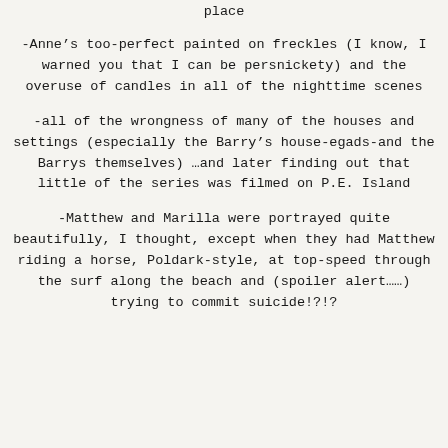place
-Anne’s too-perfect painted on freckles (I know, I warned you that I can be persnickety) and the overuse of candles in all of the nighttime scenes
-all of the wrongness of many of the houses and settings (especially the Barry’s house-egads-and the Barrys themselves) …and later finding out that little of the series was filmed on P.E. Island
-Matthew and Marilla were portrayed quite beautifully, I thought, except when they had Matthew riding a horse, Poldark-style, at top-speed through the surf along the beach and (spoiler alert……) trying to commit suicide!?!?